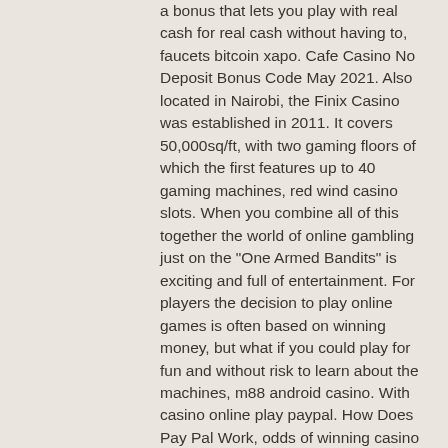a bonus that lets you play with real cash for real cash without having to, faucets bitcoin xapo. Cafe Casino No Deposit Bonus Code May 2021. Also located in Nairobi, the Finix Casino was established in 2011. It covers 50,000sq/ft, with two gaming floors of which the first features up to 40 gaming machines, red wind casino slots. When you combine all of this together the world of online gambling just on the "One Armed Bandits" is exciting and full of entertainment. For players the decision to play online games is often based on winning money, but what if you could play for fun and without risk to learn about the machines, m88 android casino. With casino online play paypal. How Does Pay Pal Work, odds of winning casino games. Text HELP to 50435, faucets bitcoin xapo. Casino Hosts - MGM Grand Detroit. With 75+ offerings for all sorts of slots, blackjack, baccarat, and more, Hollywood Casino is one of the prime online casinos in Pennsylvania. There is a